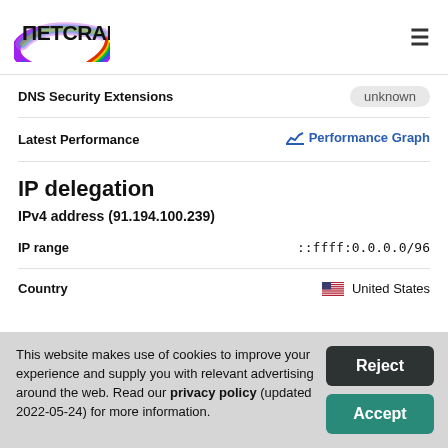[Figure (logo): Netcraft logo with rainbow arc and bold text]
| Field | Value |
| --- | --- |
| DNS Security Extensions | unknown |
| Latest Performance | Performance Graph |
IP delegation
IPv4 address (91.194.100.239)
| Field | Value |
| --- | --- |
| IP range | ::ffff:0.0.0.0/96 |
| Country | United States |
This website makes use of cookies to improve your experience and supply you with relevant advertising around the web. Read our privacy policy (updated 2022-05-24) for more information.